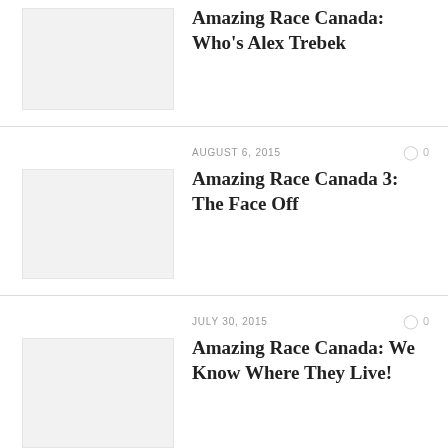Amazing Race Canada: Who's Alex Trebek
AUGUST 6, 2015
Amazing Race Canada 3: The Face Off
JULY 30, 2015
Amazing Race Canada: We Know Where They Live!
JULY 24, 2015